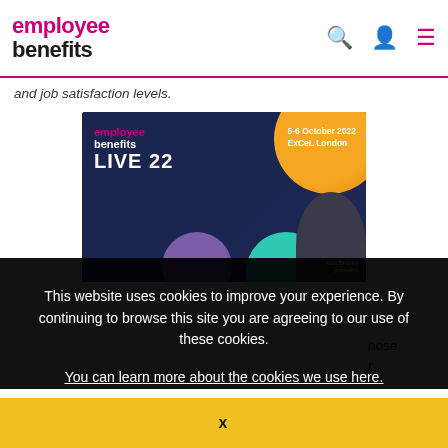employee benefits
and job satisfaction levels.
[Figure (screenshot): Employee Benefits Live 22 event advertisement banner. Dark navy background with orange, teal, and purple circles. Shows 'employee benefits LIVE 22' text, '5-6 October 2022 ExCeL London', and a photo of Alex Brooker, journalist.]
This website uses cookies to improve your experience. By continuing to browse this site you are agreeing to our use of these cookies.
You can learn more about the cookies we use here.
hose r
stressed, compared to only 6% of those working no